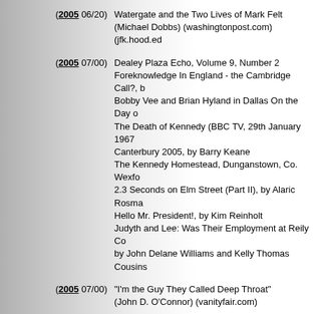(2005 06/20) Watergate and the Two Lives of Mark Felt (Michael Dobbs) (washingtonpost.com) (jfk.hood.ed
(2005 07/00) Dealey Plaza Echo, Volume 9, Number 2
Foreknowledge In England - the Cambridge Call?, b
Bobby Vee and Brian Hyland in Dallas On the Day o
The Death of Kennedy (BBC TV, 29th January 1967
Canterbury 2005, by Barry Keane
The Kennedy Homestead, Dunganstown, Co. Wexfo
2.3 Seconds on Elm Street (Part II), by Alaric Rosma
Hello Mr. President!, by Kim Reinholt
Judyth and Lee: Was Their Employment at Reily Co
by John Delane Williams and Kelly Thomas Cousins
(2005 07/00) "I'm the Guy They Called Deep Throat" (John D. O'Connor) (vanityfair.com)
(2005 07/02) CIA document on Clay Shaw - Excerpts (Gary Bekkum) (coverthistory.blogspot.com)
(2005 07/04) Oswald and Albert Schweitzer College (Greg Parker) (coverthistory.blogspot.com)
(2005 08/00) A New Perspective on the Kennedy Assassination (Pat Speer) (patspeer.com)
(2005 08/08) Congressional Oversight and the Crippling of the CIA (Stephen F. Knott) (historynewsnetwork.org)
(2005 09/02) 9/11 and 11/22 (Joan Mellen Key) (West Citizen)